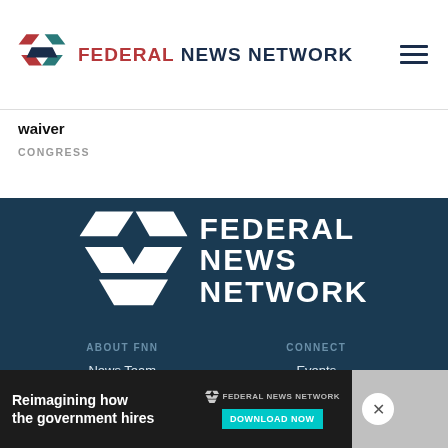FEDERAL NEWS NETWORK
waiver
CONGRESS
[Figure (logo): Federal News Network large white logo on dark blue background]
ABOUT FNN
News Team
Careers
Contact Us
CONNECT
Events
Press Releases
RSS Feeds
[Figure (infographic): Advertisement banner: Reimagining how the government hires - Federal News Network - Download Now button]